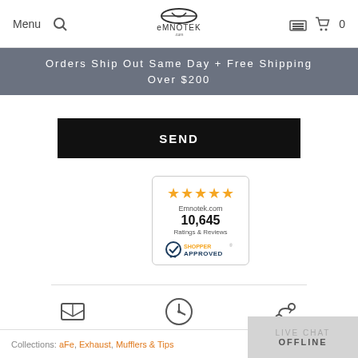Menu [search icon] EMNOTEK [garage icon] [cart icon] 0
Orders Ship Out Same Day + Free Shipping Over $200
SEND
[Figure (other): Shopper Approved rating badge: 5 gold stars, Emnotek.com, 10,645 Ratings & Reviews, Shopper Approved logo]
[Figure (infographic): Three feature icons: box (Free Shipping $200+), clock (Most orders ship same day), arrows (Hassle free returns)]
Collections: aFe, Exhaust, Mufflers & Tips
LIVE CHAT OFFLINE